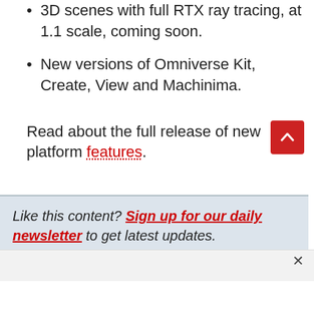3D scenes with full RTX ray tracing, at 1.1 scale, coming soon.
New versions of Omniverse Kit, Create, View and Machinima.
Read about the full release of new platform features.
Like this content? Sign up for our daily newsletter to get latest updates.